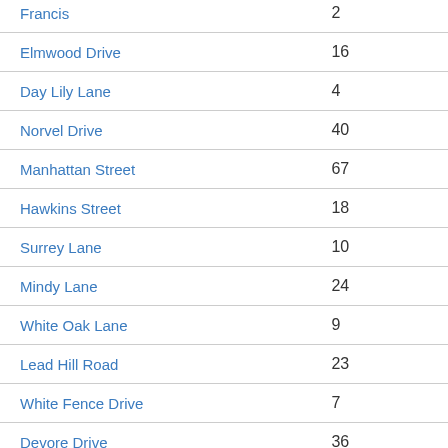| Street Name | Value |
| --- | --- |
| Francis | 2 |
| Elmwood Drive | 16 |
| Day Lily Lane | 4 |
| Norvel Drive | 40 |
| Manhattan Street | 67 |
| Hawkins Street | 18 |
| Surrey Lane | 10 |
| Mindy Lane | 24 |
| White Oak Lane | 9 |
| Lead Hill Road | 23 |
| White Fence Drive | 7 |
| Devore Drive | 36 |